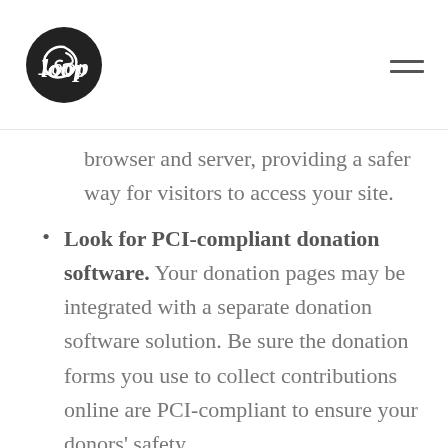Loop logo and navigation menu
browser and server, providing a safer way for visitors to access your site.
Look for PCI-compliant donation software. Your donation pages may be integrated with a separate donation software solution. Be sure the donation forms you use to collect contributions online are PCI-compliant to ensure your donors' safety.
Update software and plugins